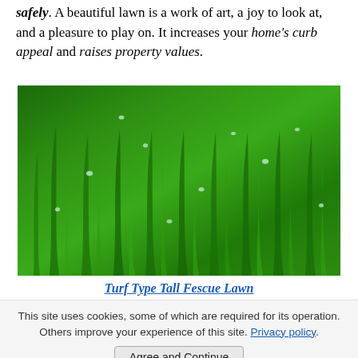safely. A beautiful lawn is a work of art, a joy to look at, and a pleasure to play on. It increases your home's curb appeal and raises property values.
[Figure (photo): Close-up photograph of lush green turf-type tall fescue grass with water droplets visible on the blades.]
Turf Type Tall Fescue Lawn
This site uses cookies, some of which are required for its operation. Others improve your experience of this site. Privacy policy.